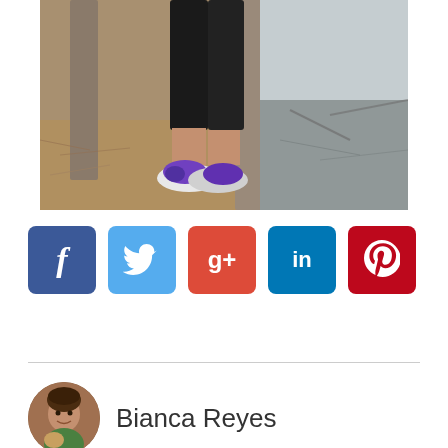[Figure (photo): Photo of a person's legs from the knees down wearing black athletic leggings and purple/blue running shoes, standing on a forest floor covered with dry leaves and twigs, with weathered wooden posts in the background.]
[Figure (infographic): Row of five social media share buttons: Facebook (dark blue, 'f'), Twitter (light blue, bird icon), Google+ (red-orange, 'g+'), LinkedIn (blue, 'in'), Pinterest (dark red, 'p' pin icon).]
Bianca Reyes